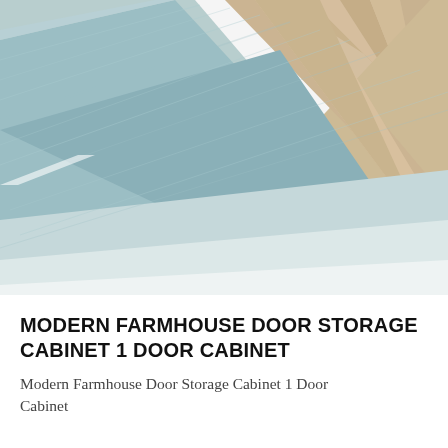[Figure (photo): Close-up photo of wooden flooring with herringbone pattern in light tan/beige at top right and painted blue-gray/teal wooden planks in the center and lower portion, with white/pale gray area at bottom.]
MODERN FARMHOUSE DOOR STORAGE CABINET 1 DOOR CABINET
Modern Farmhouse Door Storage Cabinet 1 Door Cabinet